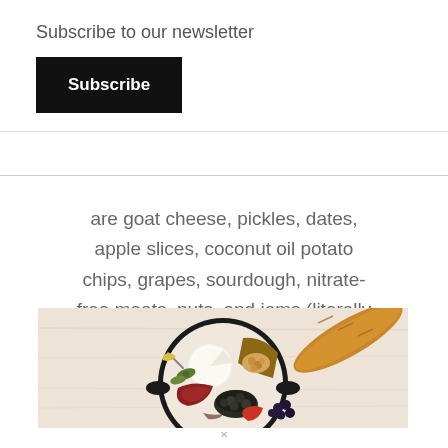Subscribe to our newsletter
Subscribe
are goat cheese, pickles, dates, apple slices, coconut oil potato chips, grapes, sourdough, nitrate-free meats, nuts, and jams (literally drooling as I type).
[Figure (photo): Overhead view of a charcuterie/grazing board with meats, cheeses, olives, pickles, bread, grapes and other snacks on a white wooden surface with a baguette beside the board.]
×